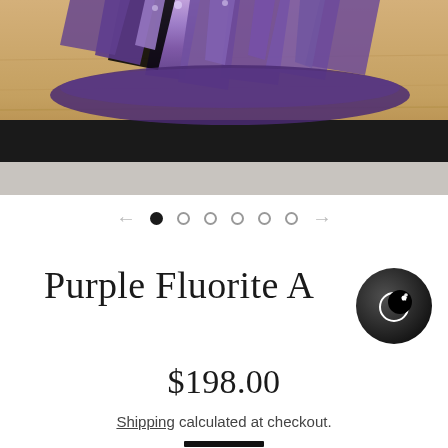[Figure (photo): A purple fluorite crystal cluster sitting on a wooden surface with a dark black shelf/ledge below. The photo is cropped showing mainly the crystal at top and the wood/dark shelf below.]
[Figure (infographic): Image carousel navigation: left arrow, one filled dot (current), five empty dots, right arrow]
Purple Fluorite A
[Figure (logo): Round black circle logo with a crescent moon and star icon in white]
$198.00
Shipping calculated at checkout.